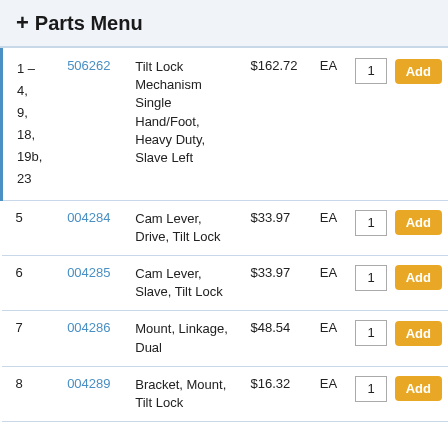+ Parts Menu
| Ref | Part No. | Description | Price | Unit | Qty | Action |
| --- | --- | --- | --- | --- | --- | --- |
| 1 – 4, 9, 18, 19b, 23 | 506262 | Tilt Lock Mechanism Single Hand/Foot, Heavy Duty, Slave Left | $162.72 | EA | 1 | Add |
| 5 | 004284 | Cam Lever, Drive, Tilt Lock | $33.97 | EA | 1 | Add |
| 6 | 004285 | Cam Lever, Slave, Tilt Lock | $33.97 | EA | 1 | Add |
| 7 | 004286 | Mount, Linkage, Dual | $48.54 | EA | 1 | Add |
| 8 | 004289 | Bracket, Mount, Tilt Lock | $16.32 | EA | 1 | Add |